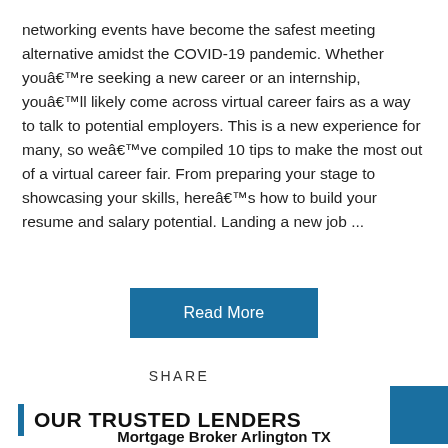networking events have become the safest meeting alternative amidst the COVID-19 pandemic. Whether youâre seeking a new career or an internship, youâll likely come across virtual career fairs as a way to talk to potential employers. This is a new experience for many, so weâve compiled 10 tips to make the most out of a virtual career fair. From preparing your stage to showcasing your skills, hereâs how to build your resume and salary potential. Landing a new job ...
Read More
SHARE
OUR TRUSTED LENDERS
Mortgage Broker Arlington TX